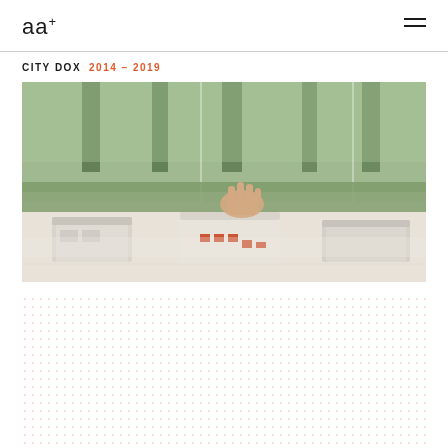aa+
CITY DOX  2014 – 2019
[Figure (photo): A hand reaching down to touch one of three white architectural scale models on a table, with greenery visible in the background behind glass]
[Figure (other): Dot grid pattern in light pink/salmon color]